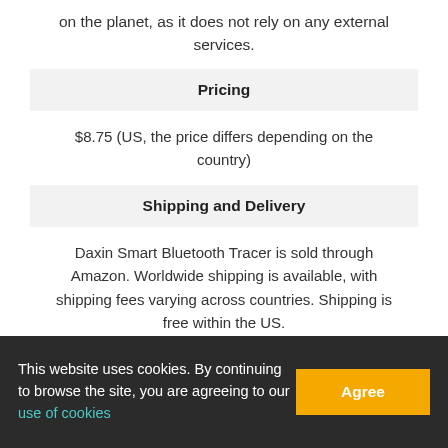on the planet, as it does not rely on any external services.
Pricing
$8.75 (US, the price differs depending on the country)
Shipping and Delivery
Daxin Smart Bluetooth Tracer is sold through Amazon. Worldwide shipping is available, with shipping fees varying across countries. Shipping is free within the US.
Refund Policy
Daxin Smart Bluetooth Tracer does not come with a
This website uses cookies. By continuing to browse the site, you are agreeing to our use of cookies